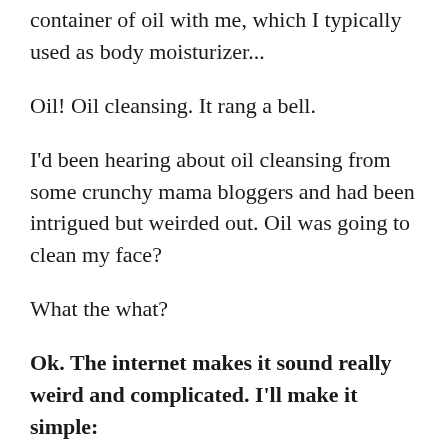container of oil with me, which I typically used as body moisturizer...
Oil! Oil cleansing. It rang a bell.
I'd been hearing about oil cleansing from some crunchy mama bloggers and had been intrigued but weirded out. Oil was going to clean my face?
What the what?
Ok. The internet makes it sound really weird and complicated. I'll make it simple:
Like dissolves like. That's a chemistry principle. It works. You just use warm water,